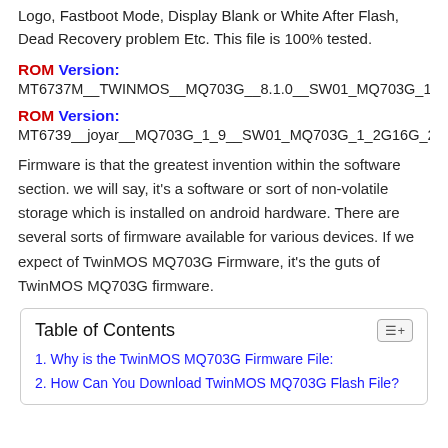Logo, Fastboot Mode, Display Blank or White After Flash, Dead Recovery problem Etc. This file is 100% tested.
ROM Version:
MT6737M__TWINMOS__MQ703G__8.1.0__SW01_MQ703G_1G8G_
ROM Version:
MT6739__joyar__MQ703G_1_9__SW01_MQ703G_1_2G16G_201
Firmware is that the greatest invention within the software section. we will say, it's a software or sort of non-volatile storage which is installed on android hardware. There are several sorts of firmware available for various devices. If we expect of TwinMOS MQ703G Firmware, it's the guts of TwinMOS MQ703G firmware.
Table of Contents
1. Why is the TwinMOS MQ703G Firmware File:
2. How Can You Download TwinMOS MQ703G Flash File?